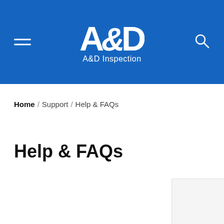A&D Inspection
Home / Support / Help & FAQs
Help & FAQs